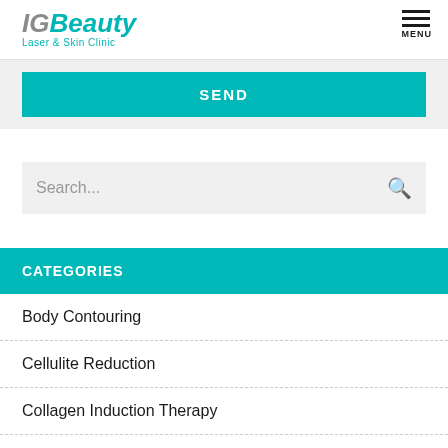IGBeauty Laser & Skin Clinic — MENU
SEND
Search...
CATEGORIES
Body Contouring
Cellulite Reduction
Collagen Induction Therapy
Facial Scarring
Laser Hair Removal